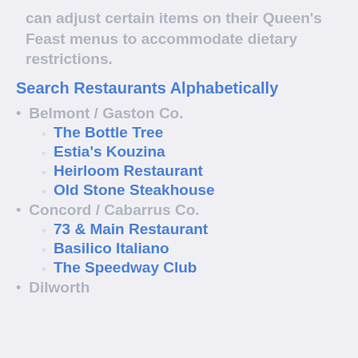can adjust certain items on their Queen's Feast menus to accommodate dietary restrictions.
Search Restaurants Alphabetically
Belmont / Gaston Co.
The Bottle Tree
Estia's Kouzina
Heirloom Restaurant
Old Stone Steakhouse
Concord / Cabarrus Co.
73 & Main Restaurant
Basilico Italiano
The Speedway Club
Dilworth